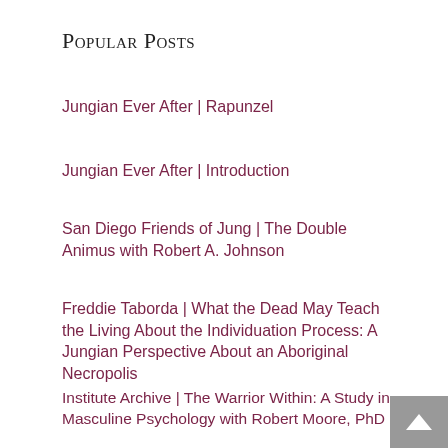Popular Posts
Jungian Ever After | Rapunzel
Jungian Ever After | Introduction
San Diego Friends of Jung | The Double Animus with Robert A. Johnson
Freddie Taborda | What the Dead May Teach the Living About the Individuation Process: A Jungian Perspective About an Aboriginal Necropolis
Institute Archive | The Warrior Within: A Study in Masculine Psychology with Robert Moore, PhD
Ashok Bedi | The Divine Guest and The Fearless Girl (Video)